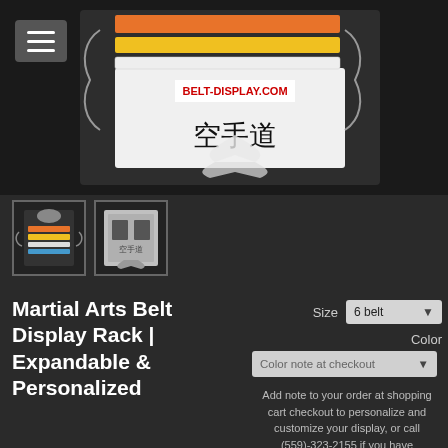[Figure (photo): Martial arts karate belt display rack with colorful belts (orange, yellow, white) mounted on a decorative silver rack with karate kanji characters. Belt-display.com watermark visible.]
[Figure (photo): Thumbnail 1: Small view of belt display rack with colorful belts.]
[Figure (photo): Thumbnail 2: Small view of belt display rack engraving plate.]
Martial Arts Belt Display Rack | Expandable & Personalized
Size
6 belt
Color
Color note at checkout
Add note to your order at shopping cart checkout to personalize and customize your display, or call (559)-323-2155 if you have